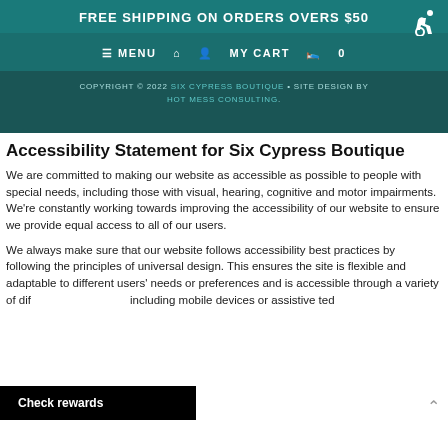FREE SHIPPING ON ORDERS OVERS $50
≡ MENU  🏠  👤  MY CART  🛍  0
COPYRIGHT © 2022 SIX CYPRESS BOUTIQUE · SITE DESIGN BY HOT MESS CONSULTING.
Accessibility Statement for Six Cypress Boutique
We are committed to making our website as accessible as possible to people with special needs, including those with visual, hearing, cognitive and motor impairments. We're constantly working towards improving the accessibility of our website to ensure we provide equal access to all of our users.
We always make sure that our website follows accessibility best practices by following the principles of universal design. This ensures the site is flexible and adaptable to different users' needs or preferences and is accessible through a variety of different technologies, including mobile devices or assistive technologies.